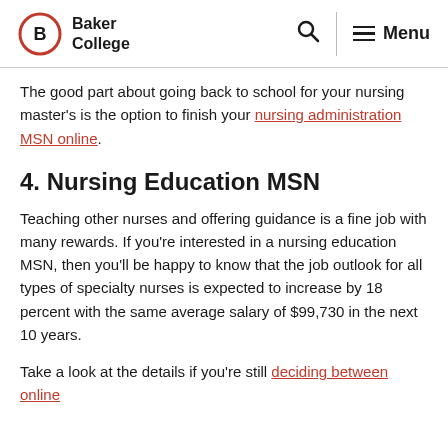Baker College
The good part about going back to school for your nursing master's is the option to finish your nursing administration MSN online.
4. Nursing Education MSN
Teaching other nurses and offering guidance is a fine job with many rewards. If you're interested in a nursing education MSN, then you'll be happy to know that the job outlook for all types of specialty nurses is expected to increase by 18 percent with the same average salary of $99,730 in the next 10 years.
Take a look at the details if you're still deciding between online